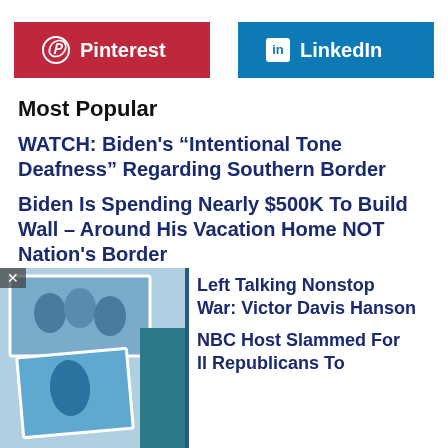[Figure (other): Pinterest and LinkedIn share buttons side by side]
Most Popular
WATCH: Biden’s “Intentional Tone Deafness” Regarding Southern Border
Biden Is Spending Nearly $500K To Build Wall – Around His Vacation Home NOT Nation’s Border
[Figure (photo): Photo collage with people at an event, partially obscured]
Left Talking Nonstop War: Victor Davis Hanson
NBC Host Slammed For ll Republicans To